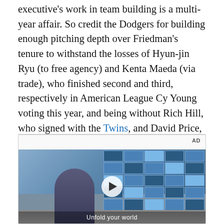executive's work in team building is a multi-year affair. So credit the Dodgers for building enough pitching depth over Friedman's tenure to withstand the losses of Hyun-jin Ryu (to free agency) and Kenta Maeda (via trade), who finished second and third, respectively in American League Cy Young voting this year, and being without Rich Hill, who signed with the Twins, and David Price, who opted out of the season due to health concerns during the pandemic.
[Figure (other): Video advertisement with AD label, showing a young person standing in front of blue-tiled wall in what appears to be a store. Play button overlay visible. Caption reads 'Unfold your world'.]